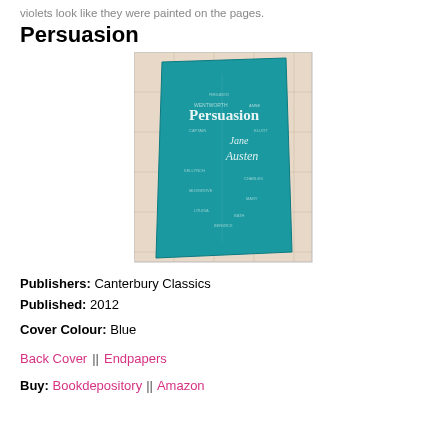violets look like they were painted on the pages.
Persuasion
[Figure (photo): Photo of a teal/blue hardcover edition of Persuasion by Jane Austen, Canterbury Classics, with a word-cloud design on the cover featuring the title 'Persuasion' and 'Jane Austen' prominently.]
Publishers:  Canterbury Classics
Published:  2012
Cover Colour:  Blue
Back Cover || Endpapers
Buy:  Bookdepository || Amazon